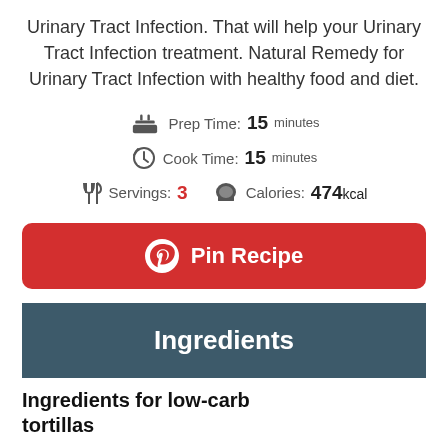Urinary Tract Infection. That will help your Urinary Tract Infection treatment. Natural Remedy for Urinary Tract Infection with healthy food and diet.
Prep Time: 15 minutes
Cook Time: 15 minutes
Servings: 3  Calories: 474kcal
[Figure (other): Red Pin Recipe button with Pinterest logo]
Ingredients
Ingredients for low-carb tortillas
2 eggs